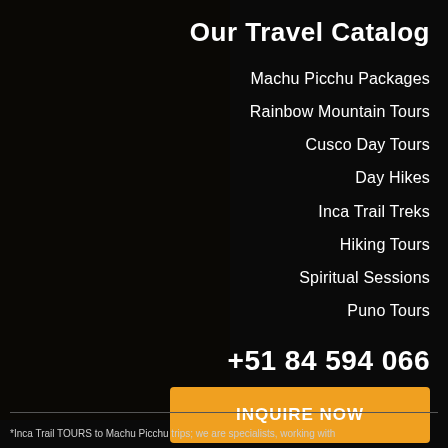Our Travel Catalog
Machu Picchu Packages
Rainbow Mountain Tours
Cusco Day Tours
Day Hikes
Inca Trail Treks
Hiking Tours
Spiritual Sessions
Puno Tours
+51 84 594 066
INQUIRE NOW
*Inca Trail TOURS to Machu Picchu trips; we are specialists, working with